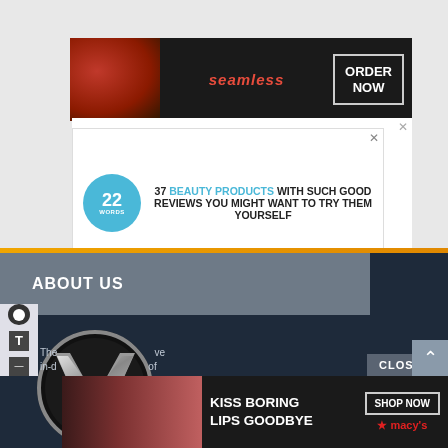[Figure (screenshot): Seamless food delivery advertisement banner with pizza image, seamless logo, and ORDER NOW button]
[Figure (screenshot): 22 Words advertisement: '37 BEAUTY PRODUCTS WITH SUCH GOOD REVIEWS YOU MIGHT WANT TO TRY THEM YOURSELF' with '22 WORDS' badge and partial ad behind showing 'SHOULD OWN']
ABOUT US
[Figure (logo): Davis Vanguard circular logo with stylized V letter on dark background, davisvanguard.org text]
The ... ve in-d... of issues since 2009. The Vanguard has provided Davis and
[Figure (screenshot): Macy's advertisement: KISS BORING LIPS GOODBYE with SHOP NOW button and Macy's star logo]